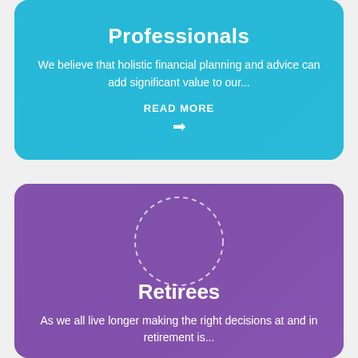Professionals
We believe that holistic financial planning and advice can add significant value to our...
READ MORE →
[Figure (illustration): Purple card with dashed circle overlay and background photo of person working at a desk]
Retirees
As we all live longer making the right decisions at and in retirement is...